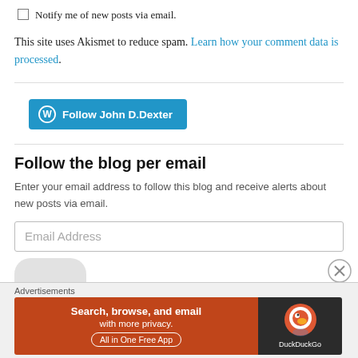Notify me of new posts via email.
This site uses Akismet to reduce spam. Learn how your comment data is processed.
[Figure (other): WordPress Follow button: Follow John D.Dexter]
Follow the blog per email
Enter your email address to follow this blog and receive alerts about new posts via email.
Email Address (input field)
[Figure (other): Advertisement banner: DuckDuckGo - Search, browse, and email with more privacy. All in One Free App]